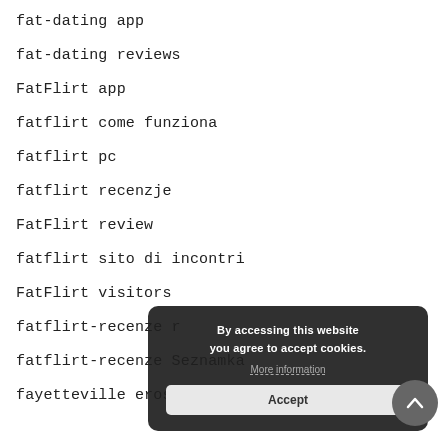fat-dating app
fat-dating reviews
FatFlirt app
fatflirt come funziona
fatflirt pc
fatflirt recenzje
FatFlirt review
fatflirt sito di incontri
FatFlirt visitors
fatflirt-recenze r
fatflirt-recenze Seznamka
fayetteville eros escort
[Figure (other): Cookie consent popup with text 'By accessing this website you agree to accept cookies.' with More information link and Accept button]
[Figure (other): Scroll-to-top circular button with upward chevron arrow]